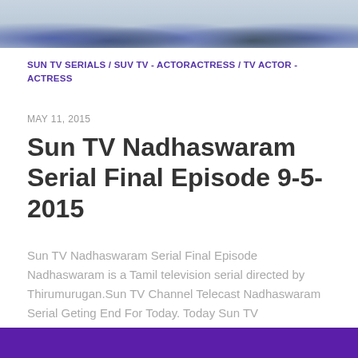[Figure (photo): Top cropped photo strip showing a group of people]
SUN TV SERIALS / SUV TV - ACTORACTRESS / TV ACTOR - ACTRESS
MAY 11, 2015
Sun TV Nadhaswaram Serial Final Episode 9-5-2015
Sun TV Nadhaswaram Serial Final Episode Nadhaswaram is a Tamil television serial directed by Thirumurugan.Sun TV Channel Telecast Nadhaswaram Serial Geting End For Today. Today Sun TV Nadhaswaram Serial Final Episode Telecast on Sun...